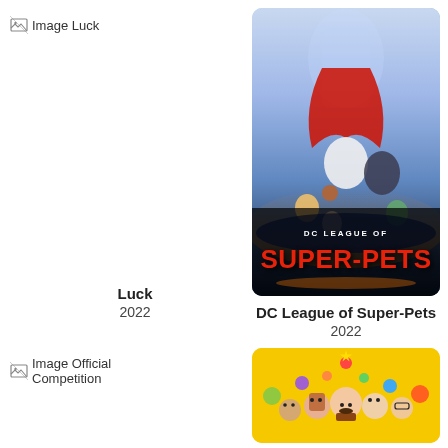[Figure (illustration): Broken image placeholder icon followed by text 'Image Luck' in top left]
[Figure (photo): Movie poster for DC League of Super-Pets (2022) showing animated superhero animals with the DC League of Super-Pets title text at bottom]
Luck
2022
DC League of Super-Pets
2022
[Figure (illustration): Broken image placeholder icon followed by text 'Image Official Competition' in bottom left]
[Figure (illustration): Partial movie poster with yellow background showing animated characters from Bob's Burgers style artwork]